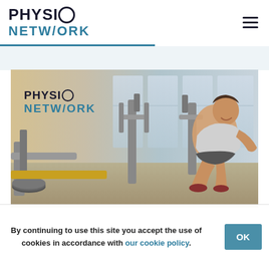PHYSIO NETWORK
[Figure (photo): Gym scene showing a muscular man doing leg press exercise on a machine, with exercise equipment in the background. Physio Network logo overlaid on the image.]
By continuing to use this site you accept the use of cookies in accordance with our cookie policy.